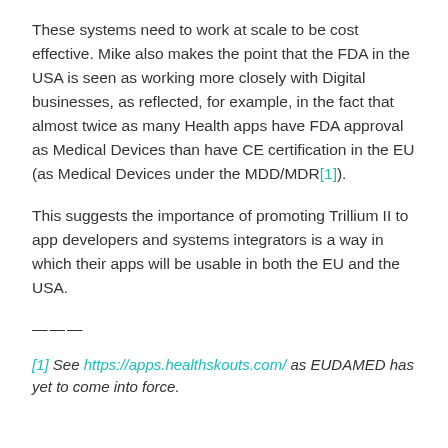These systems need to work at scale to be cost effective. Mike also makes the point that the FDA in the USA is seen as working more closely with Digital businesses, as reflected, for example, in the fact that almost twice as many Health apps have FDA approval as Medical Devices than have CE certification in the EU (as Medical Devices under the MDD/MDR[1]).
This suggests the importance of promoting Trillium II to app developers and systems integrators is a way in which their apps will be usable in both the EU and the USA.
———
[1] See https://apps.healthskouts.com/ as EUDAMED has yet to come into force.